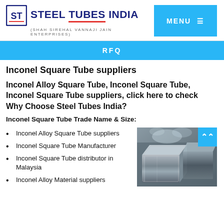[Figure (logo): Steel Tubes India logo with STI icon and subtitle Shah Sirehal Vannaji Jain Enterprises]
MENU ☰
RFQ
Inconel Square Tube suppliers
Inconel Alloy Square Tube, Inconel Square Tube, Inconel Square Tube suppliers, click here to check Why Choose Steel Tubes India?
Inconel Square Tube Trade Name & Size:
Inconel Alloy Square Tube suppliers
Inconel Square Tube Manufacturer
Inconel Square Tube distributor in Malaysia
Inconel Alloy Material suppliers
[Figure (photo): Photo of metallic square tubes stacked together, industrial setting]